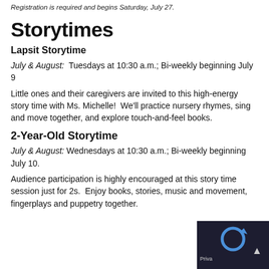Registration is required and begins Saturday, July 27.
Storytimes
Lapsit Storytime
July & August:  Tuesdays at 10:30 a.m.; Bi-weekly beginning July 9
Little ones and their caregivers are invited to this high-energy story time with Ms. Michelle!  We'll practice nursery rhymes, sing and move together, and explore touch-and-feel books.
2-Year-Old Storytime
July & August: Wednesdays at 10:30 a.m.; Bi-weekly beginning July 10.
Audience participation is highly encouraged at this story time session just for 2s.  Enjoy books, stories, music and movement, fingerplays and puppetry together.